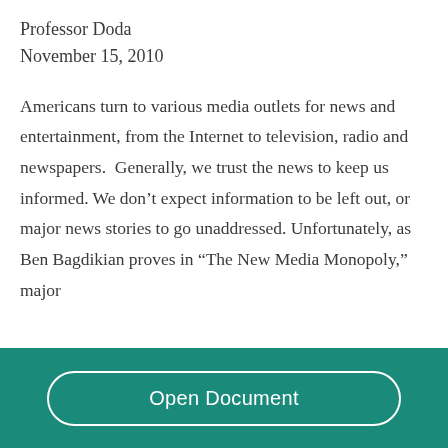Professor Doda
November 15, 2010
Americans turn to various media outlets for news and entertainment, from the Internet to television, radio and newspapers.  Generally, we trust the news to keep us informed. We don’t expect information to be left out, or major news stories to go unaddressed. Unfortunately, as Ben Bagdikian proves in “The New Media Monopoly,” major
Open Document